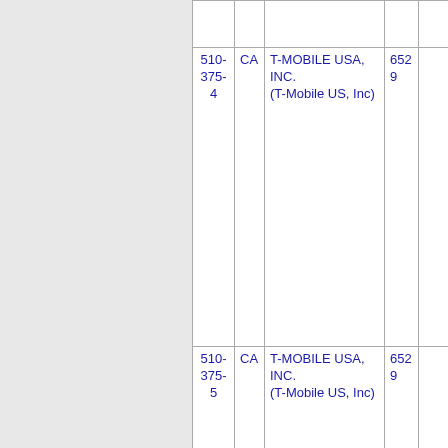| Number | State | Company | ID | Extra |
| --- | --- | --- | --- | --- |
| 510-375-4 | CA | T-MOBILE USA, INC. (T-Mobile US, Inc) | 6529 |  |
| 510-375-5 | CA | T-MOBILE USA, INC. (T-Mobile US, Inc) | 6529 |  |